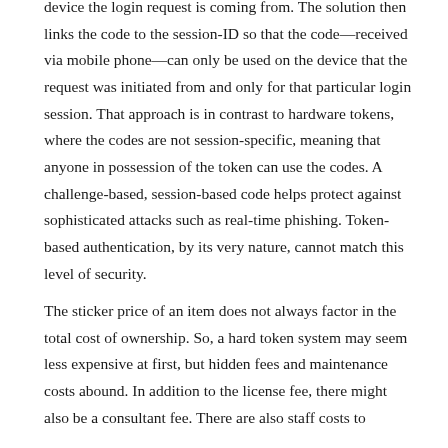device the login request is coming from. The solution then links the code to the session-ID so that the code—received via mobile phone—can only be used on the device that the request was initiated from and only for that particular login session. That approach is in contrast to hardware tokens, where the codes are not session-specific, meaning that anyone in possession of the token can use the codes. A challenge-based, session-based code helps protect against sophisticated attacks such as real-time phishing. Token-based authentication, by its very nature, cannot match this level of security.
The sticker price of an item does not always factor in the total cost of ownership. So, a hard token system may seem less expensive at first, but hidden fees and maintenance costs abound. In addition to the license fee, there might also be a consultant fee. There are also staff costs to administer the system. If you replace a lost or stolen...